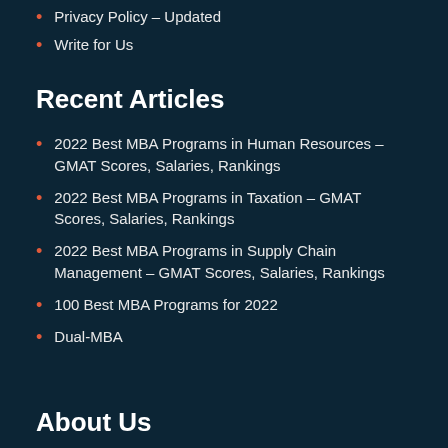Privacy Policy – Updated
Write for Us
Recent Articles
2022 Best MBA Programs in Human Resources – GMAT Scores, Salaries, Rankings
2022 Best MBA Programs in Taxation – GMAT Scores, Salaries, Rankings
2022 Best MBA Programs in Supply Chain Management – GMAT Scores, Salaries, Rankings
100 Best MBA Programs for 2022
Dual-MBA
About Us